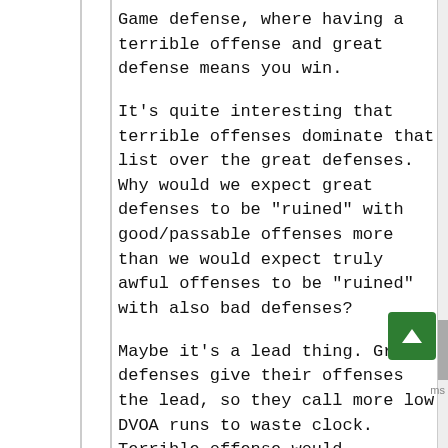Game defense, where having a terrible offense and great defense means you win.
It's quite interesting that terrible offenses dominate that list over the great defenses. Why would we expect great defenses to be "ruined" with good/passable offenses more than we would expect truly awful offenses to be "ruined" with also bad defenses?
Maybe it's a lead thing. Great defenses give their offenses the lead, so they call more low DVOA runs to waste clock. Terrible offense would theoretically do the same thing though, for the other team, so that doesn't make sense, either.
Maybe it's the Jeff Fisher brand of idiocy,